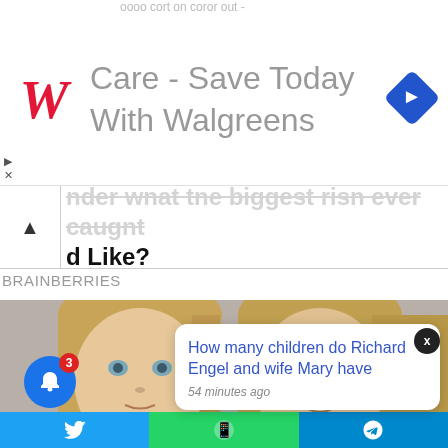[Figure (screenshot): Walgreens advertisement banner showing script W logo and text 'Care - Save Today With Walgreens' with blue diamond arrow icon]
Care - Save Today With Walgreens
Under What The Biggest Fish Ever Caught d Like?
BRAINBERRIES
[Figure (photo): Close-up photo of two young girls with blonde hair and light eyes facing the camera]
How many children do Richard Engel and wife Mary have
54 minutes ago